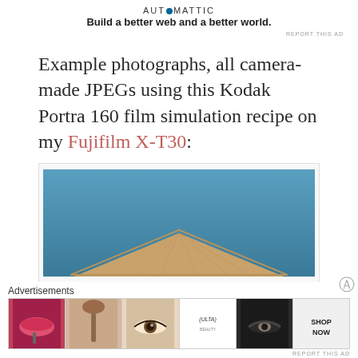AUTOMATTIC — Build a better web and a better world.
REPORT THIS AD
Example photographs, all camera-made JPEGs using this Kodak Portra 160 film simulation recipe on my Fujifilm X-T30:
[Figure (photo): Photograph showing a corner of a building with wooden eave against a clear blue sky, taken with Fujifilm X-T30 using Kodak Portra 160 film simulation recipe.]
Advertisements
[Figure (photo): Advertisement strip showing beauty/makeup ads including lips with lipstick, makeup brush, eye with makeup, Ulta Beauty logo, smoky eye makeup, and SHOP NOW call-to-action panel.]